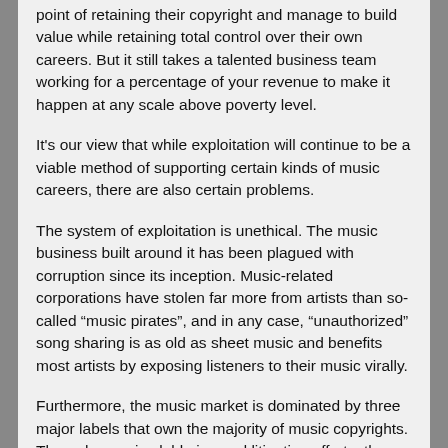point of retaining their copyright and manage to build value while retaining total control over their own careers. But it still takes a talented business team working for a percentage of your revenue to make it happen at any scale above poverty level.
It's our view that while exploitation will continue to be a viable method of supporting certain kinds of music careers, there are also certain problems.
The system of exploitation is unethical. The music business built around it has been plagued with corruption since its inception. Music-related corporations have stolen far more from artists than so-called “music pirates”, and in any case, “unauthorized” song sharing is as old as sheet music and benefits most artists by exposing listeners to their music virally.
Furthermore, the music market is dominated by three major labels that own the majority of music copyrights. Through massive lobbying and litigation efforts, these corporations have directly and indirectly dictated the terms of how all musicians get paid. This marginalizes the idea of musician as small business, forcing many musicians into exploitative contracts